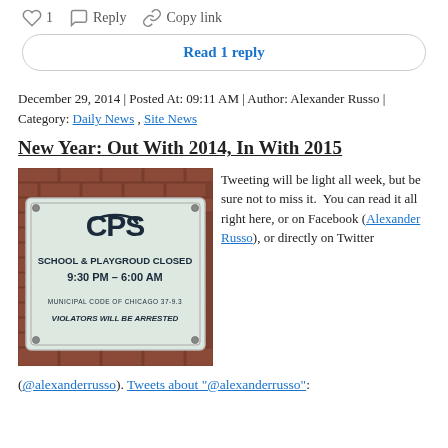♡ 1   Reply   Copy link
Read 1 reply
December 29, 2014 | Posted At: 09:11 AM | Author: Alexander Russo | Category: Daily News , Site News
New Year: Out With 2014, In With 2015
[Figure (photo): A CPS (Chicago Public Schools) sign mounted on a brick wall reading: SCHOOL & PLAYGROUD CLOSED 9:30 PM – 6:00 AM MUNICIPAL CODE OF CHICAGO 37-9.3 VIOLATORS WILL BE ARRESTED]
Tweeting will be light all week, but be sure not to miss it.  You can read it all right here, or on Facebook (Alexander Russo), or directly on Twitter
(@alexanderrusso). Tweets about "@alexanderrusso":